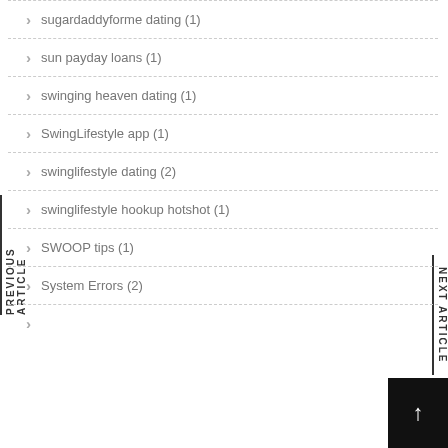sugardaddyforme dating (1)
sun payday loans (1)
swinging heaven dating (1)
SwingLifestyle app (1)
swinglifestyle dating (2)
swinglifestyle hookup hotshot (1)
SWOOP tips (1)
System Errors (2)